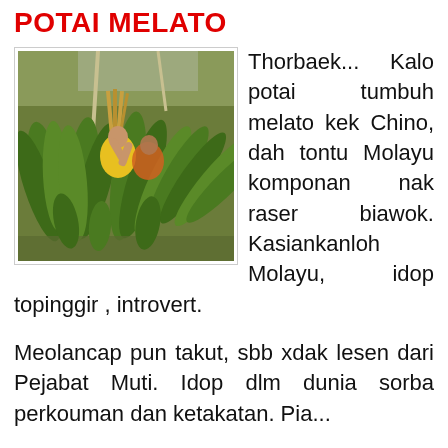POTAI MELATO
[Figure (photo): People holding large bundles of petai (bitter beans) pods with long twisted green pods hanging down, at what appears to be a market.]
Thorbaek... Kalo potai tumbuh melato kek Chino, dah tontu Molayu komponan nak raser biawok. Kasiankanloh Molayu, idop topinggir , introvert.
Meolancap pun takut, sbb xdak lesen dari Pejabat Muti. Idop dlm dunia sorba perkouman dan ketakatan. Pia...